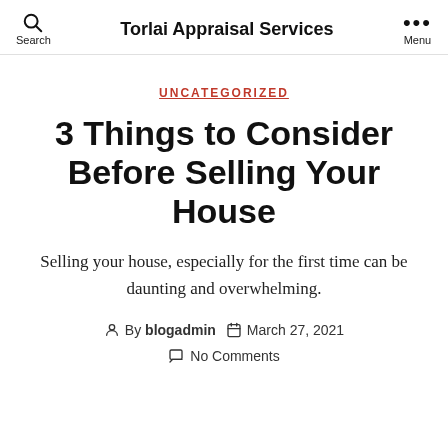Torlai Appraisal Services
UNCATEGORIZED
3 Things to Consider Before Selling Your House
Selling your house, especially for the first time can be daunting and overwhelming.
By blogadmin  March 27, 2021
No Comments